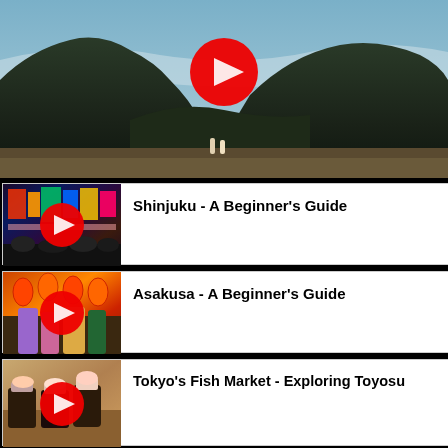[Figure (photo): Large mountain landscape thumbnail with a red play button circle overlay. Dark mountain ridges against a blue hazy sky, two figures in the foreground.]
[Figure (photo): Thumbnail of Shinjuku neon street lights at night with crowds, red play button overlay. Title: Shinjuku - A Beginner's Guide]
Shinjuku - A Beginner's Guide
[Figure (photo): Thumbnail of Asakusa festival crowd with people in kimono, red play button overlay. Title: Asakusa - A Beginner's Guide]
Asakusa - A Beginner's Guide
[Figure (photo): Thumbnail of Japanese food/sushi at Tokyo's fish market, red play button overlay. Title: Tokyo's Fish Market - Exploring Toyosu]
Tokyo's Fish Market - Exploring Toyosu